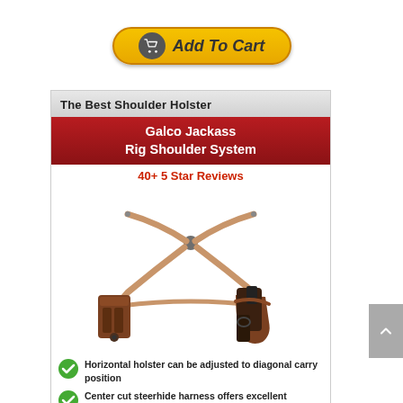[Figure (other): Add To Cart button with shopping cart icon, yellow/orange gradient background]
The Best Shoulder Holster
Galco Jackass Rig Shoulder System
40+ 5 Star Reviews
[Figure (photo): Galco Jackass Rig Shoulder System holster product photo showing leather shoulder holster with straps, magazine carrier on left and gun holster on right]
Horizontal holster can be adjusted to diagonal carry position
Center cut steerhide harness offers excellent support and carry position